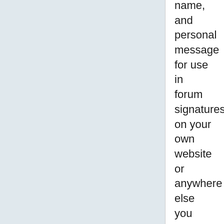name, and personal message for use in forum signatures, on your own website or anywhere else you want!
News
Back again?
We haven't really been working on